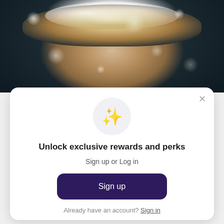[Figure (photo): Person's head from above being washed with shampoo lather/foam on dark and blonde hair, water and soap bubbles visible, dark background]
[Figure (screenshot): Modal dialog with sparkle emoji icon, heading 'Unlock exclusive rewards and perks', subtext 'Sign up or Log in', a dark purple Sign up button, and 'Already have an account? Sign in' link]
Unlock exclusive rewards and perks
Sign up or Log in
Sign up
Already have an account? Sign in